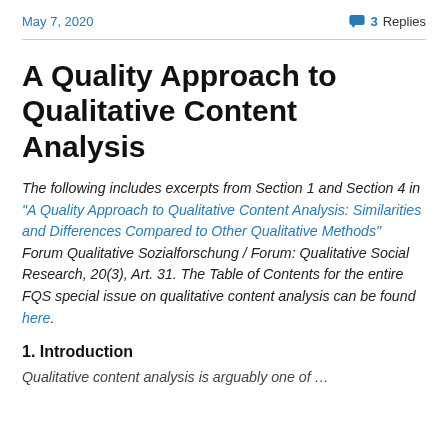May 7, 2020
3 Replies
A Quality Approach to Qualitative Content Analysis
The following includes excerpts from Section 1 and Section 4 in "A Quality Approach to Qualitative Content Analysis: Similarities and Differences Compared to Other Qualitative Methods" Forum Qualitative Sozialforschung / Forum: Qualitative Social Research, 20(3), Art. 31. The Table of Contents for the entire FQS special issue on qualitative content analysis can be found here.
1. Introduction
...